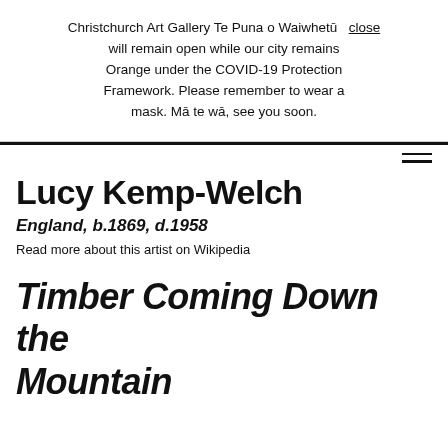Christchurch Art Gallery Te Puna o Waiwhetū will remain open while our city remains Orange under the COVID-19 Protection Framework. Please remember to wear a mask. Mā te wā, see you soon. close
Lucy Kemp-Welch
England, b.1869, d.1958
Read more about this artist on Wikipedia
Timber Coming Down the Mountain